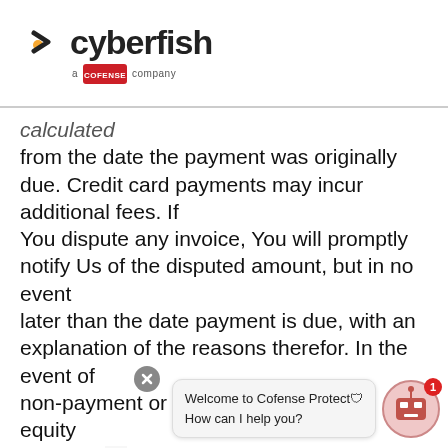cyberfish — a Cofense company
calculated from the date the payment was originally due. Credit card payments may incur additional fees. If You dispute any invoice, You will promptly notify Us of the disputed amount, but in no event later than the date payment is due, with an explanation of the reasons therefor. In the event of non-payment or any action at law or in equity necessary to enforce the terms of this Customer Agreement, the payment,
[Figure (screenshot): Chat widget overlay showing 'Welcome to Cofense Protect. How can I help you?' with close button and bot icon with notification badge.]